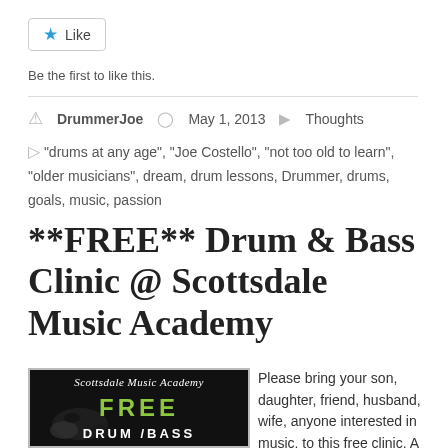[Figure (other): Like button — blue star icon with 'Like' text, border box]
Be the first to like this.
DrummerJoe   May 1, 2013   Thoughts
"drums at any age", "Joe Costello", "not too old to learn", "older musicians", dream, drum lessons, Drummer, drums, goals, music, passion
**FREE** Drum & Bass Clinic @ Scottsdale Music Academy
[Figure (illustration): Scottsdale Music Academy FREE DRUM/BASS clinic promo image with black background, green FREE text, white DRUM/BASS text, ink splatter]
Please bring your son, daughter, friend, husband, wife, anyone interested in music, to this free clinic. A lot fo work